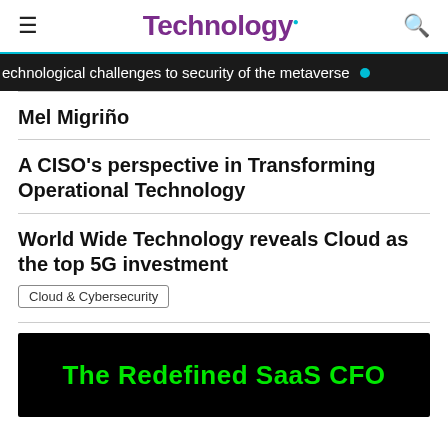Technology.
echnological challenges to security of the metaverse
Mel Migriño
A CISO's perspective in Transforming Operational Technology
World Wide Technology reveals Cloud as the top 5G investment
Cloud & Cybersecurity
[Figure (other): Advertisement banner: 'The Redefined SaaS CFO' in green text on black background]